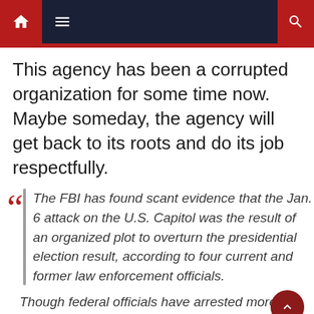Navigation bar with home, menu, and search icons
This agency has been a corrupted organization for some time now. Maybe someday, the agency will get back to its roots and do its job respectfully.
The FBI has found scant evidence that the Jan. 6 attack on the U.S. Capitol was the result of an organized plot to overturn the presidential election result, according to four current and former law enforcement officials.
Though federal officials have arrested more than 570 alleged participants, the FBI at this